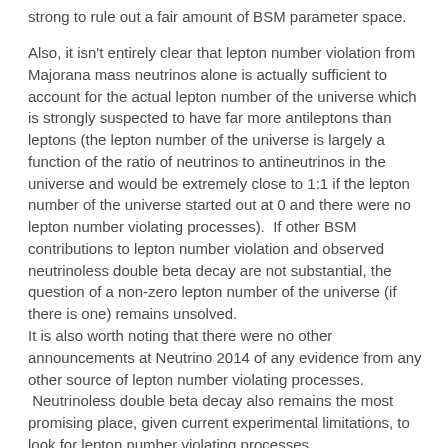strong to rule out a fair amount of BSM parameter space.
Also, it isn't entirely clear that lepton number violation from Majorana mass neutrinos alone is actually sufficient to account for the actual lepton number of the universe which is strongly suspected to have far more antileptons than leptons (the lepton number of the universe is largely a function of the ratio of neutrinos to antineutrinos in the universe and would be extremely close to 1:1 if the lepton number of the universe started out at 0 and there were no lepton number violating processes).  If other BSM contributions to lepton number violation and observed neutrinoless double beta decay are not substantial, the question of a non-zero lepton number of the universe (if there is one) remains unsolved.
It is also worth noting that there were no other announcements at Neutrino 2014 of any evidence from any other source of lepton number violating processes.  Neutrinoless double beta decay also remains the most promising place, given current experimental limitations, to look for lepton number violating processes.